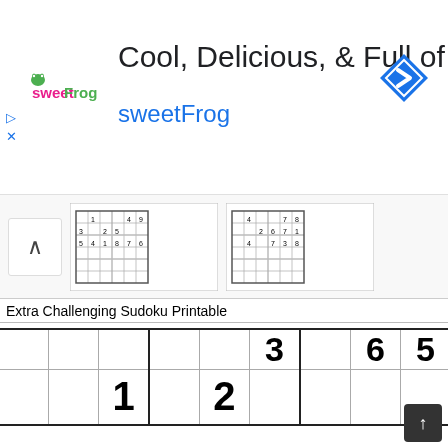[Figure (infographic): SweetFrog advertisement banner with logo, headline 'Cool, Delicious, & Full of Fun', brand name 'sweetFrog', and a map direction icon]
[Figure (screenshot): Thumbnail strip showing small sudoku puzzle images with an up-arrow navigation button]
Extra Challenging Sudoku Printable
[Figure (other): Partial sudoku puzzle grid showing numbers: row1 partial (3,5), row2 (1,2), row3 (5,7), row4 (4,1), row5 (9), row6 partial (5,7,3)]